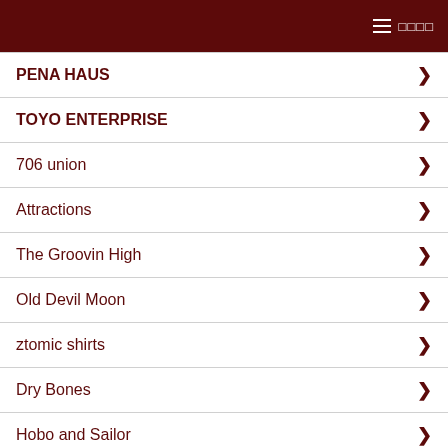≡ □□□□
PENA HAUS
TOYO ENTERPRISE
706 union
Attractions
The Groovin High
Old Devil Moon
ztomic shirts
Dry Bones
Hobo and Sailor
Psycho Apparel